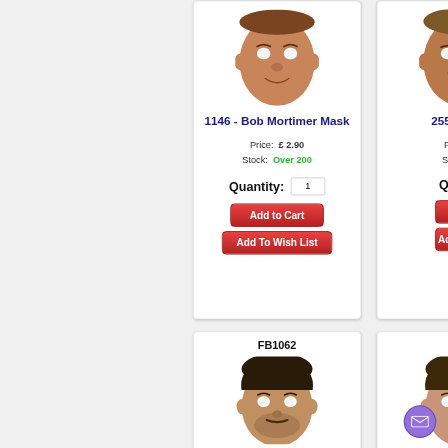[Figure (photo): Product card for Bob Mortimer Mask (item 1146) showing a face mask photo, price £2.90, stock Over 200, quantity input, Add to Cart and Add To Wish List buttons]
[Figure (photo): Partial product card for item 2555, partially cropped on right side, showing a face mask photo, price and stock partially visible]
[Figure (photo): Partial product card showing FB1062 code and a face mask photo, bottom left]
[Figure (photo): Partial product card showing FB2... code and face mask photo, bottom right, partially cropped]